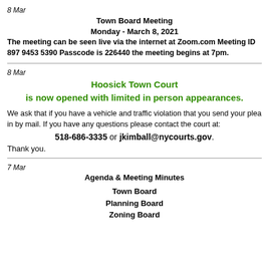8 Mar
Town Board Meeting
Monday - March 8, 2021
The meeting can be seen live via the internet at Zoom.com Meeting ID 897 9453 5390 Passcode is 226440 the meeting begins at 7pm.
8 Mar
Hoosick Town Court
is now opened with limited in person appearances.
We ask that if you have a vehicle and traffic violation that you send your plea in by mail. If you have any questions please contact the court at:
518-686-3335 or jkimball@nycourts.gov.
Thank you.
7 Mar
Agenda & Meeting Minutes
Town Board
Planning Board
Zoning Board